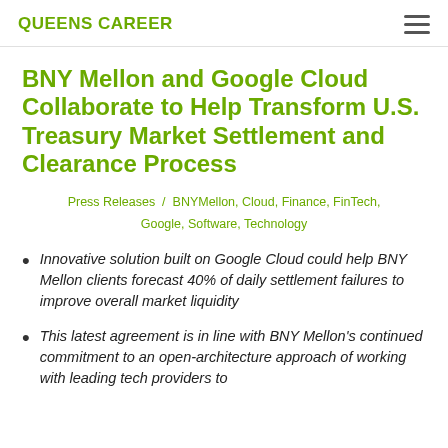QUEENS CAREER
BNY Mellon and Google Cloud Collaborate to Help Transform U.S. Treasury Market Settlement and Clearance Process
Press Releases / BNYMellon, Cloud, Finance, FinTech, Google, Software, Technology
Innovative solution built on Google Cloud could help BNY Mellon clients forecast 40% of daily settlement failures to improve overall market liquidity
This latest agreement is in line with BNY Mellon's continued commitment to an open-architecture approach of working with leading tech providers to